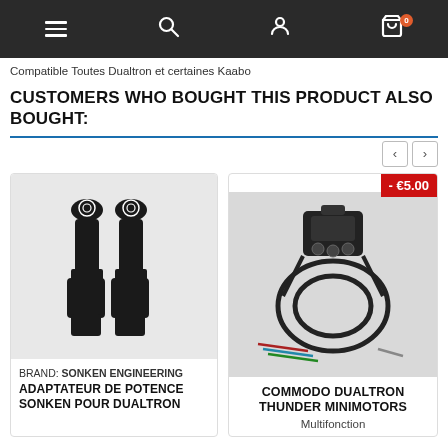Navigation bar with menu, search, account, and cart icons (0 items)
Compatible Toutes Dualtron et certaines Kaabo
CUSTOMERS WHO BOUGHT THIS PRODUCT ALSO BOUGHT:
[Figure (photo): Two black handlebar adapters/stems with gear logos on top, photographed on white background. Product: Adaptateur de Potence Sonken pour Dualtron by Sonken Engineering]
BRAND: SONKEN ENGINEERING
ADAPTATEUR DE POTENCE SONKEN POUR DUALTRON
[Figure (photo): Handlebar switch/commodo unit with multiple buttons and wiring harness, on light grey background. Shows discount badge: - €5.00. Product: Commodo Dualtron Thunder Minimotors Multifonction]
COMMODO DUALTRON THUNDER MINIMOTORS
Multifonction